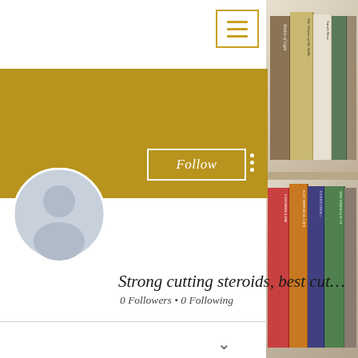[Figure (screenshot): Hamburger menu icon with three horizontal lines inside a gold/yellow bordered square button]
[Figure (photo): Right side panel showing a bookshelf with books including 'Bodies of Light', 'The Virtues of the Table', 'Sarah Moss', and other titles visible on spines; bookshelf photo cropped into right strip]
[Figure (illustration): Gold/dark yellow banner header background for social profile]
[Figure (illustration): Circular avatar placeholder with silhouette of a person, light blue/grey color]
Follow
Strong cutting steroids, best cut…
0 Followers • 0 Following
Profile
Join date: Jun 22, 2022